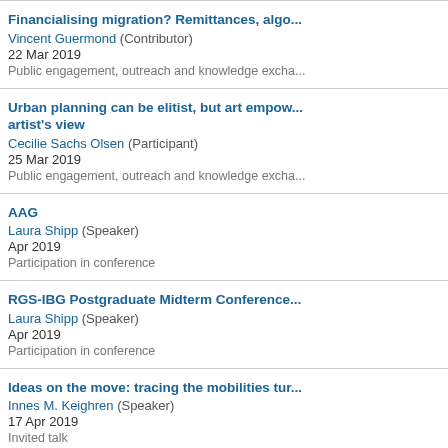Financialising migration? Remittances, algo... | Vincent Guermond (Contributor) | 22 Mar 2019 | Public engagement, outreach and knowledge excha...
Urban planning can be elitist, but art empow... artist's view | Cecilie Sachs Olsen (Participant) | 25 Mar 2019 | Public engagement, outreach and knowledge excha...
AAG | Laura Shipp (Speaker) | Apr 2019 | Participation in conference
RGS-IBG Postgraduate Midterm Conference... | Laura Shipp (Speaker) | Apr 2019 | Participation in conference
Ideas on the move: tracing the mobilities tur... | Innes M. Keighren (Speaker) | 17 Apr 2019 | Invited talk
RGS-IBG Postgraduate Midterm Conference... | Alice Reynolds (Participant) | 24 Apr 2019 → 26 Apr 2019 | Participation in conference